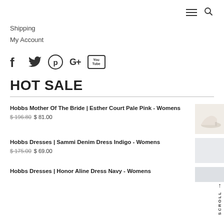Navigation bar with hamburger menu and search icon
Shipping
My Account
[Figure (infographic): Social media icons: Facebook, Twitter, Pinterest, Google+, YouTube]
HOT SALE
Hobbs Mother Of The Bride | Esther Court Pale Pink - Womens
$ 196.80  $ 81.00
Hobbs Dresses | Sammi Denim Dress Indigo - Womens
$ 175.00  $ 69.00
Hobbs Dresses | Honor Aline Dress Navy - Womens